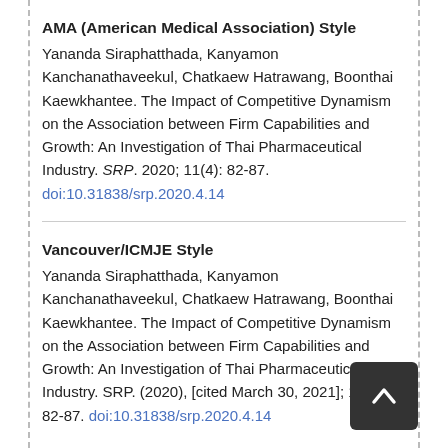AMA (American Medical Association) Style
Yananda Siraphatthada, Kanyamon Kanchanathaveekul, Chatkaew Hatrawang, Boonthai Kaewkhantee. The Impact of Competitive Dynamism on the Association between Firm Capabilities and Growth: An Investigation of Thai Pharmaceutical Industry. SRP. 2020; 11(4): 82-87. doi:10.31838/srp.2020.4.14
Vancouver/ICMJE Style
Yananda Siraphatthada, Kanyamon Kanchanathaveekul, Chatkaew Hatrawang, Boonthai Kaewkhantee. The Impact of Competitive Dynamism on the Association between Firm Capabilities and Growth: An Investigation of Thai Pharmaceutical Industry. SRP. (2020), [cited March 30, 2021]; 11(4): 82-87. doi:10.31838/srp.2020.4.14